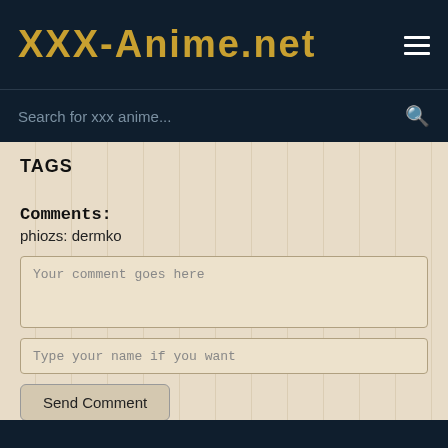XXX-Anime.net
Search for xxx anime...
TAGS
Comments:
phiozs: dermko
Your comment goes here
Type your name if you want
Send Comment